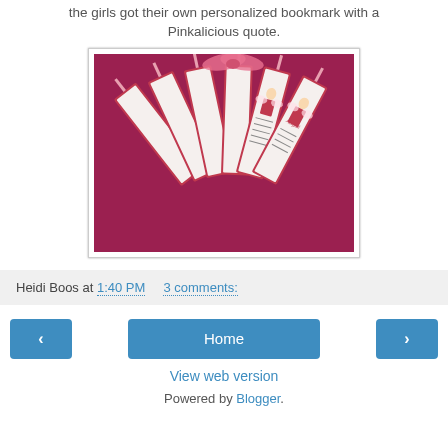the girls got their own personalized bookmark with a Pinkalicious quote.
[Figure (photo): A fan of personalized Pinkalicious-themed bookmarks with pink ribbons, spread out on a pink background. Each bookmark shows a fairy/girl illustration and handwritten-style text.]
Heidi Boos at 1:40 PM    3 comments:
Home
View web version
Powered by Blogger.